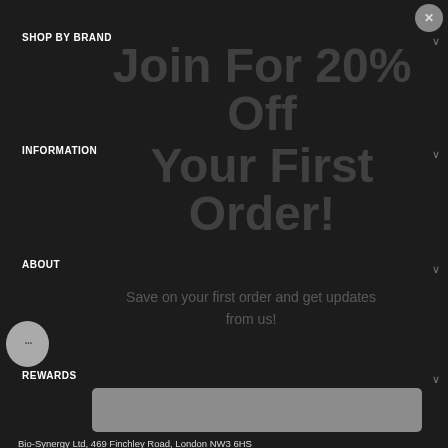SHOP BY BRAND
INFORMATION
ABOUT
REWARDS
Join For 20% Off Your First Order!
Save on your first order and get updates from us!
Bio-Synergy Ltd, 469 Finchley Road, London NW3 6HS
Tel UK Office: +44 (0)207 569 2528
Tel US Office: +1 (929)445-6455
By entering and submitting this form, you consent to receive marketing text messages from Bio-Synergy at the number provided, including messages sent by the autodialer. Consent is not a condition of any purchase. Message and data rates may apply. Message frequency varies. You can unsubscribe at any time by replying STOP or clicking the unsubscribe link (where available). View our Privacy Policy and Terms of Service
© Copyright BIO SYNERGY LTD 2022. All Rights Reserved.
Get My Code!